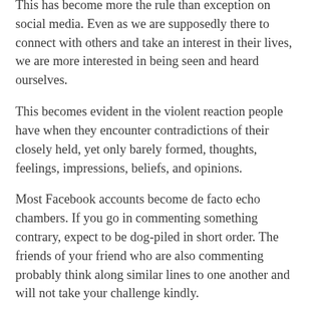This has become more the rule than exception on social media. Even as we are supposedly there to connect with others and take an interest in their lives, we are more interested in being seen and heard ourselves.
This becomes evident in the violent reaction people have when they encounter contradictions of their closely held, yet only barely formed, thoughts, feelings, impressions, beliefs, and opinions.
Most Facebook accounts become de facto echo chambers. If you go in commenting something contrary, expect to be dog-piled in short order. The friends of your friend who are also commenting probably think along similar lines to one another and will not take your challenge kindly.
And the worst thing you can do is present facts, evidences, and rational arguments. The more compelling